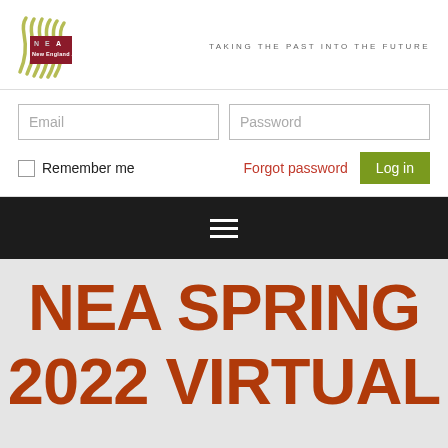[Figure (logo): New England Archivists (NEA) logo with olive wave graphic on left and red rectangular text block reading NEA / New England Archivists]
TAKING THE PAST INTO THE FUTURE
Email
Password
Remember me
Forgot password
Log in
[Figure (screenshot): Hamburger menu icon (three horizontal white lines) on dark/black navigation bar]
NEA SPRING
2022 VIRTUAL